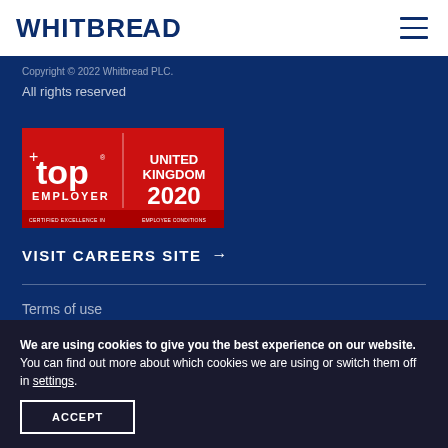WHITBREAD
Copyright © 2022 Whitbread PLC. All rights reserved
[Figure (logo): Top Employer United Kingdom 2020 — Certified Excellence in Employee Conditions badge on red background]
VISIT CAREERS SITE →
Terms of use
We are using cookies to give you the best experience on our website.
You can find out more about which cookies we are using or switch them off in settings.
ACCEPT